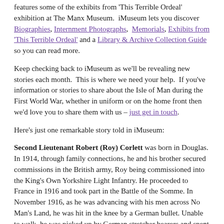features some of the exhibits from 'This Terrible Ordeal' exhibition at The Manx Museum. iMuseum lets you discover Biographies, Internment Photographs, Memorials, Exhibits from 'This Terrible Ordeal' and a Library & Archive Collection Guide so you can read more.
Keep checking back to iMuseum as we'll be revealing new stories each month. This is where we need your help. If you've information or stories to share about the Isle of Man during the First World War, whether in uniform or on the home front then we'd love you to share them with us – just get in touch.
Here's just one remarkable story told in iMuseum:
Second Lieutenant Robert (Roy) Corlett was born in Douglas. In 1914, through family connections, he and his brother secured commissions in the British army, Roy being commissioned into the King's Own Yorkshire Light Infantry. He proceeded to France in 1916 and took part in the Battle of the Somme. In November 1916, as he was advancing with his men across No Man's Land, he was hit in the knee by a German bullet. Unable to walk, he was picked up by German stretcher bearers and spent the remainder of the war in a German POW camp.
On display in 'This Terrible Ordeal' exhibition is his actual leather